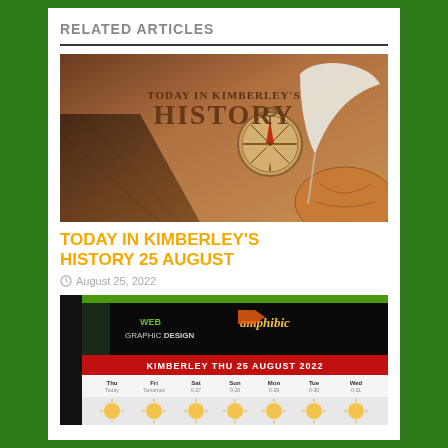RELATED ARTICLES
[Figure (photo): Banner image with text 'TODAY IN KIMBERLEY'S HISTORY' overlaid on a vintage background with compass, quill, and globe]
TODAY IN KIMBERLEY'S HISTORY 25 AUGUST
August 25, 2022
[Figure (screenshot): Amphibic Web & Graphic Design advertisement banner showing 'KIMBERLEY THU 25 AUGUST 2022' with weather forecast days Thu-Wed]